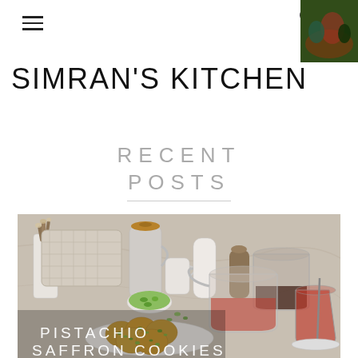SIMRAN'S KITCHEN
RECENT POSTS
[Figure (photo): Food photography showing pistachio saffron cookies on a white plate with a glass teapot of red hibiscus tea, a bowl of pistachios, white ceramic vessels, dried flowers, and kitchen props on a marble surface. Text overlay reads PISTACHIO SAFFRON COOKIES.]
PISTACHIO SAFFRON COOKIES